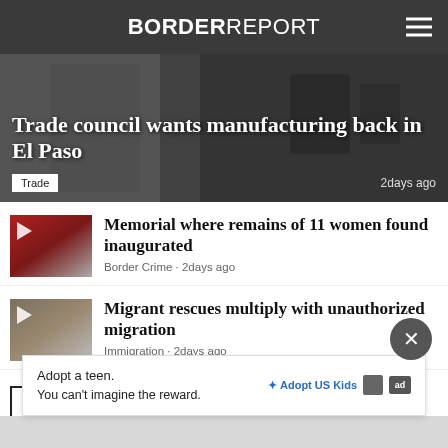BORDER REPORT
Trade council wants manufacturing back in El Paso
Trade • 2days ago
[Figure (photo): Thumbnail with play icon: memorial with red crosses/chairs for women found]
Memorial where remains of 11 women found inaugurated
Border Crime • 2days ago
[Figure (photo): Thumbnail with play icon: rocky terrain with migrants]
Migrant rescues multiply with unauthorized migration
Immigration • 2days ago
Latest Stories ▶
Adopt a teen. You can't imagine the reward. AdoptUSKids ad